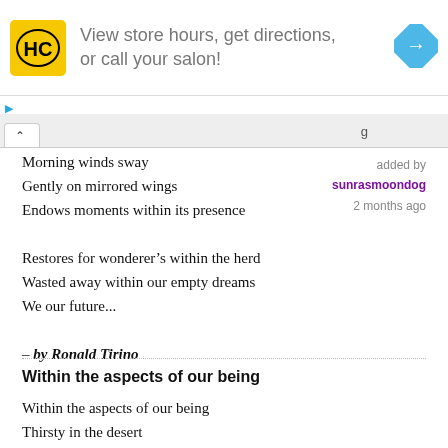[Figure (infographic): Advertisement banner for Hair Club (HC) salon showing yellow logo with HC letters, text 'View store hours, get directions, or call your salon!' and a blue diamond-shaped direction arrow icon on the right.]
Morning winds sway
Gently on mirrored wings
Endows moments within its presence

Restores for wonderer’s within the herd
Wasted away within our empty dreams
We our future...
– by Ronald Tirino
added by
sunrasmoondog
2 months ago
Within the aspects of our being
Within the aspects of our being
Thirsty in the desert
Alone within our aloneness
For seeing eyes veiled within